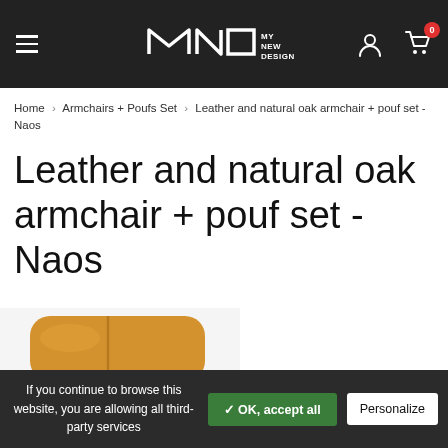MND MY NEW DESIGN — navigation header with hamburger menu, logo, user icon, cart (0)
Home > Armchairs + Poufs Set > Leather and natural oak armchair + pouf set - Naos
Leather and natural oak armchair + pouf set - Naos
[Figure (photo): Partial view of a yellow/mustard leather armchair headrest (Naos model) with natural oak base, cropped at bottom of page]
If you continue to browse this website, you are allowing all third-party services  ✓ OK, accept all  Personalize